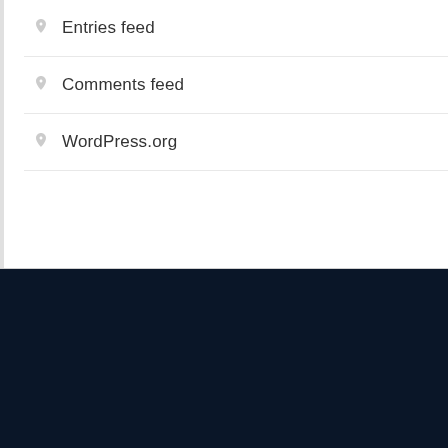Entries feed
Comments feed
WordPress.org
Copyright © All rights reserved. Business Key by Axle Themes